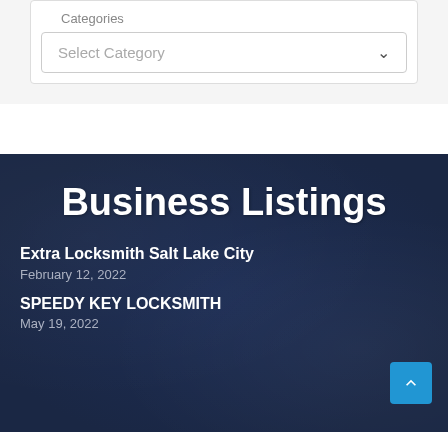Categories
Select Category
Business Listings
Extra Locksmith Salt Lake City
February 12, 2022
SPEEDY KEY LOCKSMITH
May 19, 2022